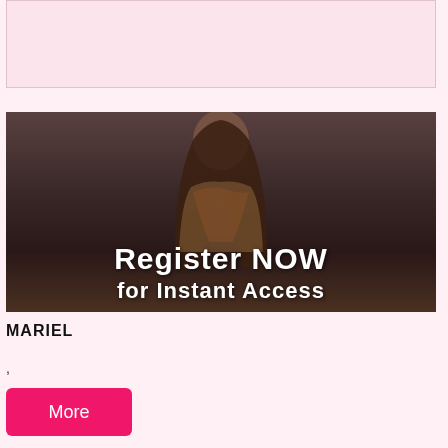[Figure (photo): Top banner placeholder area with light pink background]
[Figure (photo): Dark photo of a woman with long brown hair wearing a colorful top. Overlaid white text reads 'Register NOW for Instant Access']
MARIEL
,
More